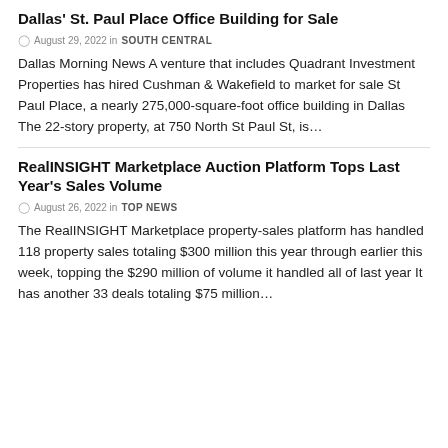Dallas' St. Paul Place Office Building for Sale
August 29, 2022 in SOUTH CENTRAL
Dallas Morning News A venture that includes Quadrant Investment Properties has hired Cushman & Wakefield to market for sale St Paul Place, a nearly 275,000-square-foot office building in Dallas The 22-story property, at 750 North St Paul St, is…
RealINSIGHT Marketplace Auction Platform Tops Last Year's Sales Volume
August 26, 2022 in TOP NEWS
The RealINSIGHT Marketplace property-sales platform has handled 118 property sales totaling $300 million this year through earlier this week, topping the $290 million of volume it handled all of last year It has another 33 deals totaling $75 million…